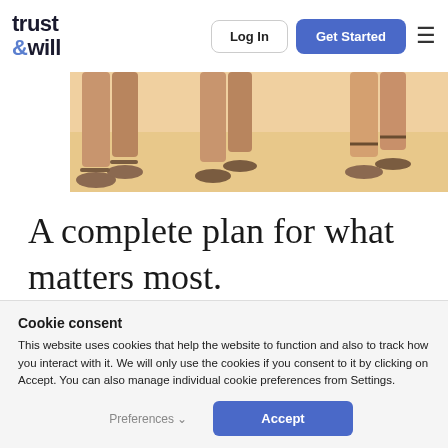trust & will — Log In | Get Started
[Figure (photo): Partial view of people's legs and feet on a warm beige/cream background, showing sandals]
A complete plan for what matters most.
Cookie consent
This website uses cookies that help the website to function and also to track how you interact with it. We will only use the cookies if you consent to it by clicking on Accept. You can also manage individual cookie preferences from Settings.
Preferences   Accept